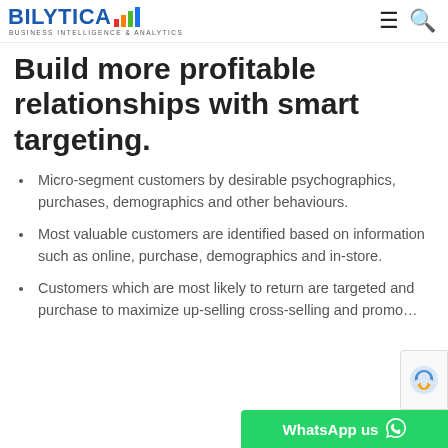BILYTICA — BUSINESS INTELLIGENCE & ANALYTICS
Build more profitable relationships with smart targeting.
Micro-segment customers by desirable psychographics, purchases, demographics and other behaviours.
Most valuable customers are identified based on information such as online, purchase, demographics and in-store.
Customers which are most likely to return are targeted and purchase to maximize up-selling cross-selling and promo…